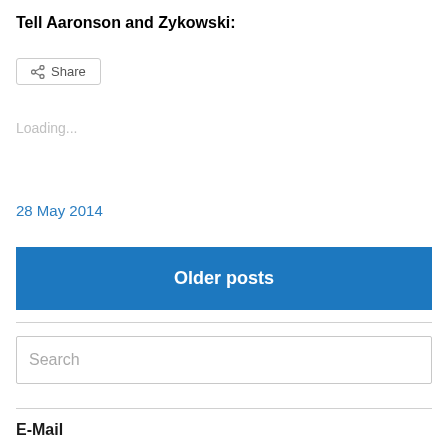Tell Aaronson and Zykowski:
[Figure (other): Share button with share icon and text 'Share']
Loading...
28 May 2014
Older posts
Search
E-Mail